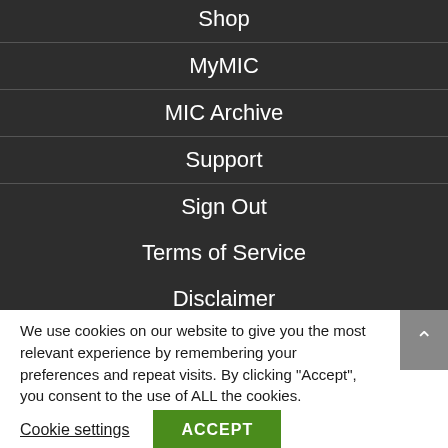Shop
MyMIC
MIC Archive
Support
Sign Out
Terms of Service
Disclaimer
Privacy Policy
We use cookies on our website to give you the most relevant experience by remembering your preferences and repeat visits. By clicking “Accept”, you consent to the use of ALL the cookies.
Cookie settings
ACCEPT